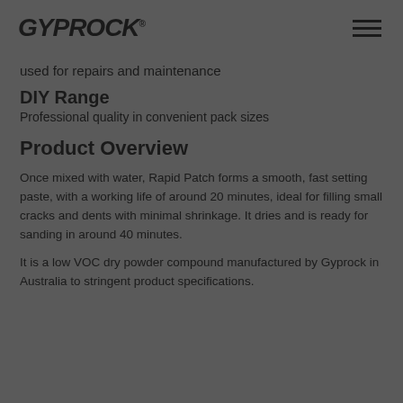GYPROCK
used for repairs and maintenance
DIY Range
Professional quality in convenient pack sizes
Product Overview
Once mixed with water, Rapid Patch forms a smooth, fast setting paste, with a working life of around 20 minutes, ideal for filling small cracks and dents with minimal shrinkage. It dries and is ready for sanding in around 40 minutes.
It is a low VOC dry powder compound manufactured by Gyprock in Australia to stringent product specifications.